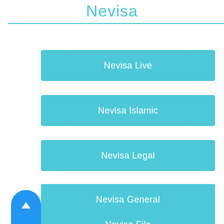Nevisa
Nevisa Live
Nevisa Islamic
Nevisa Legal
Nevisa General
Nevisa Filo